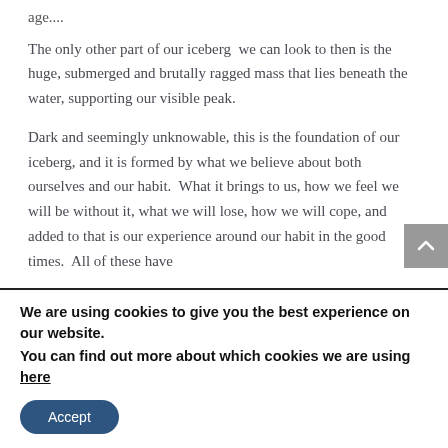age....
The only other part of our iceberg  we can look to then is the huge, submerged and brutally ragged mass that lies beneath the water, supporting our visible peak.
Dark and seemingly unknowable, this is the foundation of our iceberg, and it is formed by what we believe about both ourselves and our habit.  What it brings to us, how we feel we will be without it, what we will lose, how we will cope, and added to that is our experience around our habit in the good times.  All of these have
We are using cookies to give you the best experience on our website.
You can find out more about which cookies we are using here
Accept